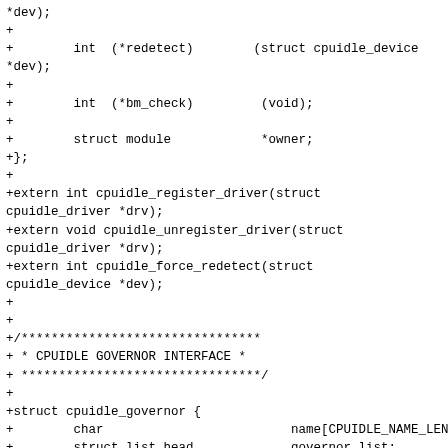*dev);
+
+        int  (*redetect)        (struct cpuidle_device
*dev);
+
+        int  (*bm_check)         (void);
+
+        struct module            *owner;
+};
+
+extern int cpuidle_register_driver(struct
cpuidle_driver *drv);
+extern void cpuidle_unregister_driver(struct
cpuidle_driver *drv);
+extern int cpuidle_force_redetect(struct
cpuidle_device *dev);
+
+
+/********************************
+ * CPUIDLE GOVERNOR INTERFACE *
+ ********************************/
+
+struct cpuidle_governor {
+        char                         name[CPUIDLE_NAME_LEN];
+        struct list_head             governor_list;
+
+        int  (*init)                 (struct cpuidle_device
*dev);
+        void (*exit)                 (struct cpuidle_device
*dev);
+        void (*scan)                 (struct cpuidle_device
*dev);